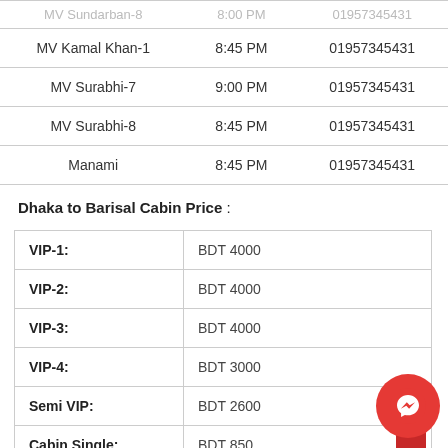| Vessel | Time | Phone |
| --- | --- | --- |
| MV Sundarban-8 | 8:00 PM | 01957345431 |
| MV Kamal Khan-1 | 8:45 PM | 01957345431 |
| MV Surabhi-7 | 9:00 PM | 01957345431 |
| MV Surabhi-8 | 8:45 PM | 01957345431 |
| Manami | 8:45 PM | 01957345431 |
Dhaka to Barisal Cabin Price :
| Class | Price |
| --- | --- |
| VIP-1: | BDT 4000 |
| VIP-2: | BDT 4000 |
| VIP-3: | BDT 4000 |
| VIP-4: | BDT 3000 |
| Semi VIP: | BDT 2600 |
| Cabin Single: | BDT 850 |